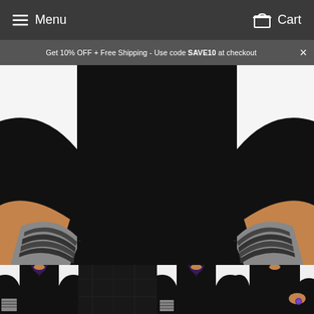☰ Menu   Cart
Get 10% OFF + Free Shipping - Use code SAVE10 at checkout  ×
[Figure (photo): Man wearing a black long-sleeve shirt with patterned white/black cuffs rolled up, torso view from behind/front, showing both arms.]
[Figure (photo): Thumbnail 1: Man wearing black shirt with patterned cuffs, collar view.]
[Figure (photo): Thumbnail 2: Black fabric swatch/shirt folded flat.]
[Figure (photo): Thumbnail 3: Man wearing black shirt with patterned cuffs, front collar view.]
[Figure (photo): Thumbnail 4: Man wearing black shirt with purple cufflinks, close up.]